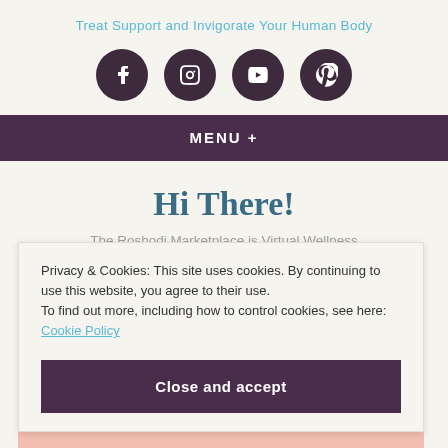Treat Support and Invigorate Your Human Body
[Figure (infographic): Four social media icons in dark purple circles: Facebook, Instagram, YouTube, Pinterest]
MENU +
Hi There!
The Roshodi Marketplace is Virtual Wellness
Privacy & Cookies: This site uses cookies. By continuing to use this website, you agree to their use.
To find out more, including how to control cookies, see here:
Cookie Policy
Close and accept